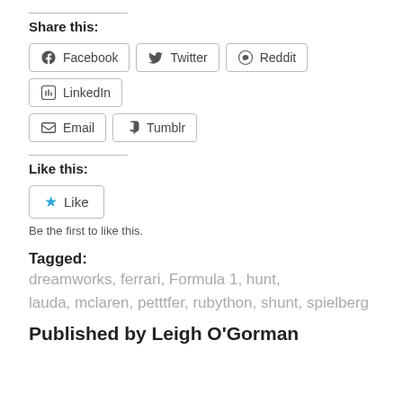Share this:
Facebook  Twitter  Reddit  LinkedIn  Email  Tumblr
Like this:
★ Like
Be the first to like this.
Tagged:   dreamworks,  ferrari,  Formula 1,  hunt,  lauda,  mclaren,  petttfer,  rubython,  shunt,  spielberg
Published by Leigh O'Gorman